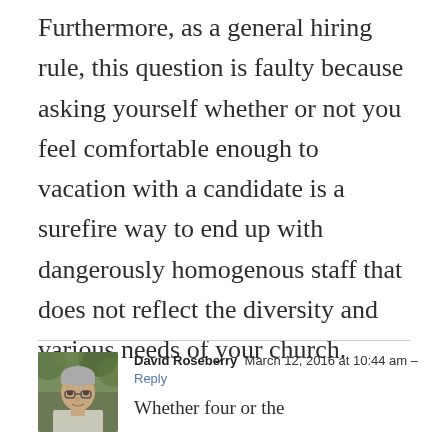Furthermore, as a general hiring rule, this question is faulty because asking yourself whether or not you feel comfortable enough to vacation with a candidate is a surefire way to end up with dangerously homogenous staff that does not reflect the diversity and various needs of your church.
[Figure (photo): Headshot photo of David Roseberry, an older man with glasses and grey hair, outdoors with foliage background]
David Roseberry  March 12, 2016 at 10:44 am - Reply